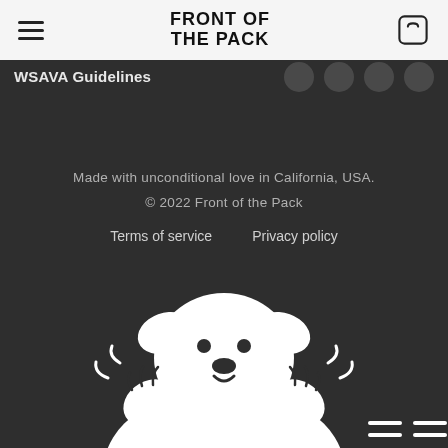Front of the Pack
WSAVA Guidelines
Made with unconditional love in California, USA.
© 2022 Front of the Pack
Terms of service   Privacy policy
[Figure (illustration): White cartoon illustration of a happy dog on a dark background, visible from chest up, with paws raised]